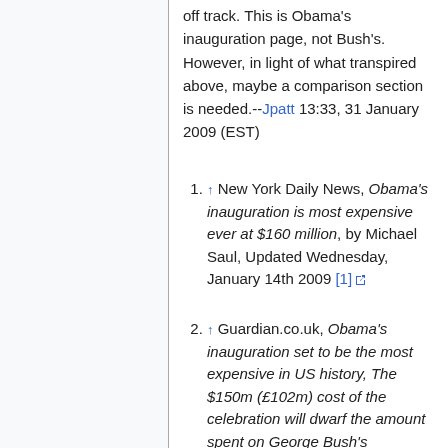off track. This is Obama's inauguration page, not Bush's. However, in light of what transpired above, maybe a comparison section is needed.--Jpatt 13:33, 31 January 2009 (EST)
↑ New York Daily News, Obama's inauguration is most expensive ever at $160 million, by Michael Saul, Updated Wednesday, January 14th 2009 [1]
↑ Guardian.co.uk, Obama's inauguration set to be the most expensive in US history, The $150m (£102m) cost of the celebration will dwarf the amount spent on George Bush's inauguration in 2005, by Ewen MacAskill, 14 January 2009 [2]